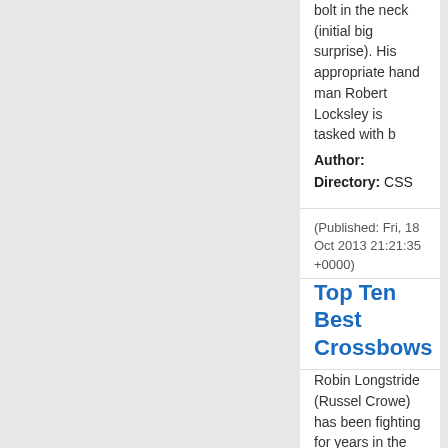bolt in the neck (initial big surprise). His appropriate hand man Robert Locksley is tasked with b
Author:
Directory: CSS
(Published: Fri, 18 Oct 2013 21:21:35 +0000)
Top Ten Best Crossbows
Robin Longstride (Russel Crowe) has been fighting for years in the Crusades with King Richards army. Throughout the last siege just before returning to England, King Richard is killed with a crossbow bolt in the neck (initial big surprise). His correct hand man Robert Locksley is tasked with bringin
Author:
Directory: CSS
(Published: Wed, 16 Oct 2013 14:29:16 +0000)
When Were Crossbows Used
Robin Longstride (Russel Crowe) has been fighting for years in the